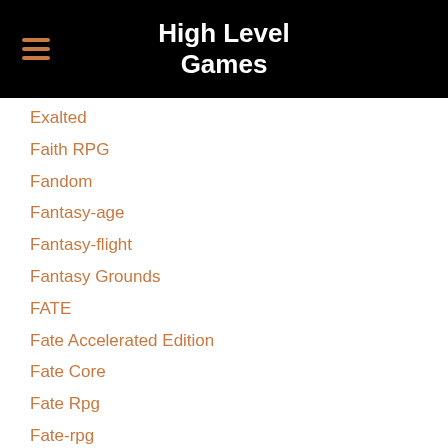High Level Games
Exalted
Faith RPG
Fandom
Fantasy-age
Fantasy-flight
Fantasy Grounds
FATE
Fate Accelerated Edition
Fate Core
Fate Rpg
Fate-rpg
Final Fantasy
Forgotten Realms
Fragged Empire
Free League Publishing